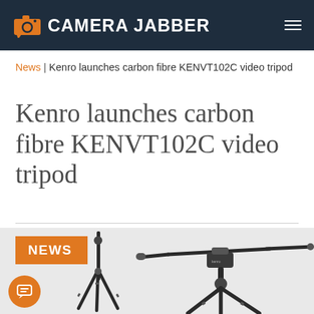CAMERA JABBER
News | Kenro launches carbon fibre KENVT102C video tripod
Kenro launches carbon fibre KENVT102C video tripod
[Figure (photo): Photo of the Kenro KENVT102C carbon fibre video tripod, showing the tripod in two configurations against a white background. A orange NEWS badge overlays the top-left of the image.]